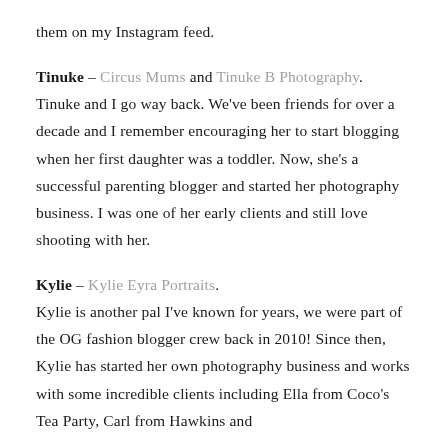them on my Instagram feed.
Tinuke – Circus Mums and Tinuke B Photography. Tinuke and I go way back. We've been friends for over a decade and I remember encouraging her to start blogging when her first daughter was a toddler. Now, she's a successful parenting blogger and started her photography business. I was one of her early clients and still love shooting with her.
Kylie – Kylie Eyra Portraits. Kylie is another pal I've known for years, we were part of the OG fashion blogger crew back in 2010! Since then, Kylie has started her own photography business and works with some incredible clients including Ella from Coco's Tea Party, Carl from Hawkins and